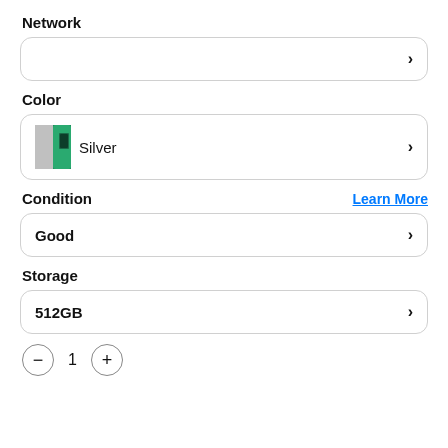Network
>
Color
Silver >
Condition
Learn More
Good >
Storage
512GB >
- 1 +